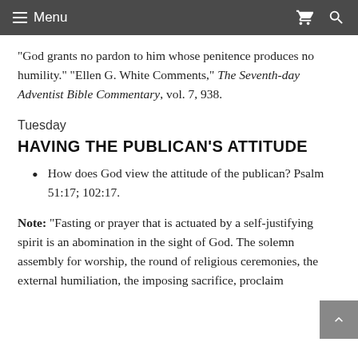Menu
“God grants no pardon to him whose penitence produces no humility.” “Ellen G. White Comments,” The Seventh-day Adventist Bible Commentary, vol. 7, 938.
Tuesday
HAVING THE PUBLICAN’S ATTITUDE
How does God view the attitude of the publican? Psalm 51:17; 102:17.
Note: “Fasting or prayer that is actuated by a self-justifying spirit is an abomination in the sight of God. The solemn assembly for worship, the round of religious ceremonies, the external humiliation, the imposing sacrifice, proclaim